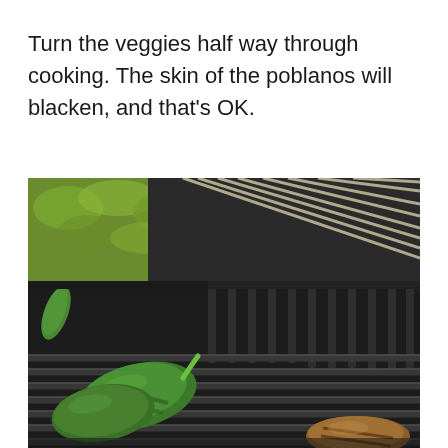Turn the veggies half way through cooking. The skin of the poblanos will blacken, and that's OK.
[Figure (photo): A photograph of green poblano peppers and other vegetables being grilled on a black BBQ grill grate. The background shows green foliage. The grill has cast iron grates with the peppers resting directly on them.]